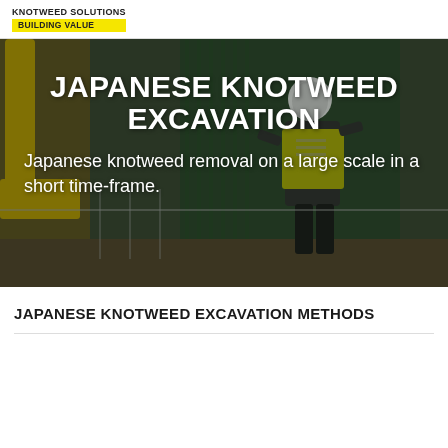KNOTWEED SOLUTIONS
BUILDING VALUE
[Figure (photo): Construction scene showing a worker in a high-visibility vest and white hard hat operating or standing near a large yellow excavator. Background includes a green corrugated metal structure. The image promotes Japanese Knotweed excavation services.]
JAPANESE KNOTWEED EXCAVATION
Japanese knotweed removal on a large scale in a short time-frame.
JAPANESE KNOTWEED EXCAVATION METHODS